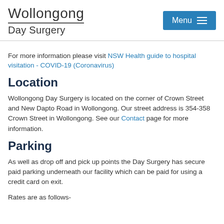Wollongong Day Surgery | Menu
For more information please visit NSW Health guide to hospital visitation - COVID-19 (Coronavirus)
Location
Wollongong Day Surgery is located on the corner of Crown Street and New Dapto Road in Wollongong. Our street address is 354-358 Crown Street in Wollongong. See our Contact page for more information.
Parking
As well as drop off and pick up points the Day Surgery has secure paid parking underneath our facility which can be paid for using a credit card on exit.
Rates are as follows-